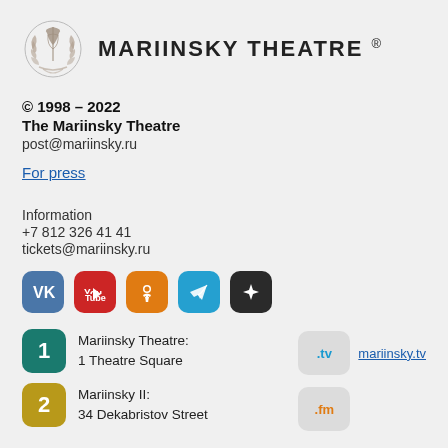[Figure (logo): Mariinsky Theatre logo with emblem and text MARIINSKY THEATRE ®]
© 1998 – 2022
The Mariinsky Theatre
post@mariinsky.ru
For press
Information
+7 812 326 41 41
tickets@mariinsky.ru
[Figure (infographic): Social media icons: VK, YouTube, Odnoklassniki, Telegram, and another app icon]
Mariinsky Theatre:
1 Theatre Square
Mariinsky II:
34 Dekabristov Street
[Figure (logo): .tv badge linking to mariinsky.tv]
[Figure (logo): .fm badge]